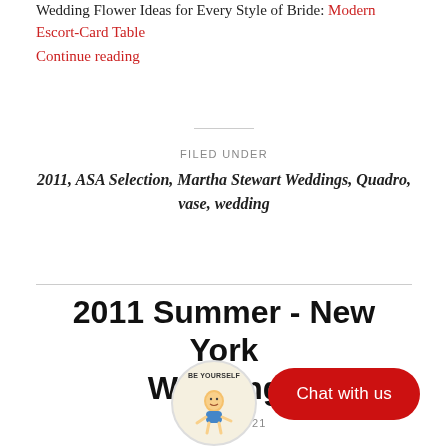Wedding Flower Ideas for Every Style of Bride: Modern Escort-Card Table
Continue reading
FILED UNDER
2011, ASA Selection, Martha Stewart Weddings, Quadro, vase, wedding
2011 Summer - New York Weddings
AUG 12, 2021
[Figure (illustration): Cartoon character illustration in a circle with text 'BE YOURSELF']
Chat with us